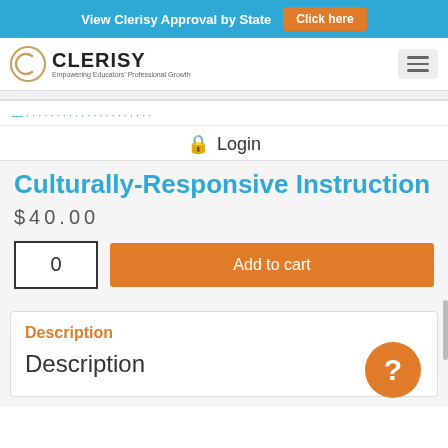View Clerisy Approval by State   Click here
[Figure (logo): Clerisy logo with circular C emblem and tagline Empowering Educators Professional Growth]
Login
Culturally-Responsive Instruction
$40.00
0
Add to cart
Description
Description